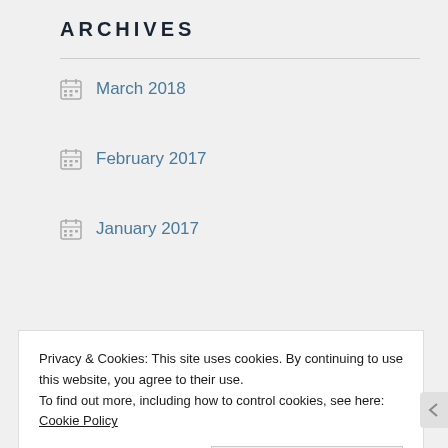ARCHIVES
March 2018
February 2017
January 2017
November 2016
July 2016
June 2016
May 2016
Privacy & Cookies: This site uses cookies. By continuing to use this website, you agree to their use.
To find out more, including how to control cookies, see here: Cookie Policy
Close and accept